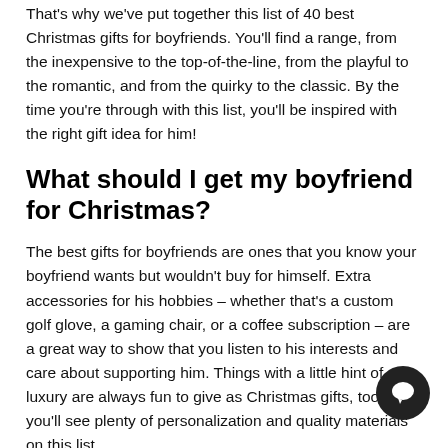That's why we've put together this list of 40 best Christmas gifts for boyfriends. You'll find a range, from the inexpensive to the top-of-the-line, from the playful to the romantic, and from the quirky to the classic. By the time you're through with this list, you'll be inspired with the right gift idea for him!
What should I get my boyfriend for Christmas?
The best gifts for boyfriends are ones that you know your boyfriend wants but wouldn't buy for himself. Extra accessories for his hobbies – whether that's a custom golf glove, a gaming chair, or a coffee subscription – are a great way to show that you listen to his interests and care about supporting him. Things with a little hint of luxury are always fun to give as Christmas gifts, too, so you'll see plenty of personalization and quality materials on this list.
If you can, try to incorporate your history together into your Christmas present. Celebrating significant moments in your relationship with the gifts that you choose will only make